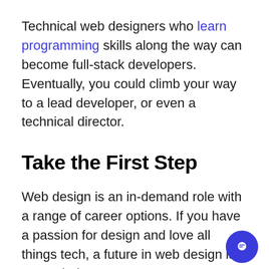Technical web designers who learn programming skills along the way can become full-stack developers. Eventually, you could climb your way to a lead developer, or even a technical director.
Take the First Step
Web design is an in-demand role with a range of career options. If you have a passion for design and love all things tech, a future in web design is a great choice.
It's no surprise that it requires many different skills to get started in this field. To fast-track your web